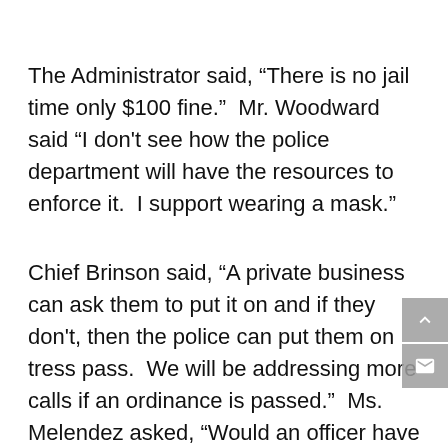The Administrator said, “There is no jail time only $100 fine.”  Mr. Woodward said “I don’t see how the police department will have the resources to enforce it.  I support wearing a mask.”
Chief Brinson said, “A private business can ask them to put it on and if they don’t, then the police can put them on tress pass.  We will be addressing more calls if an ordinance is passed.”  Ms. Melendez asked, “Would an officer have to see it?”  Chief Brinson said, “Yes.”